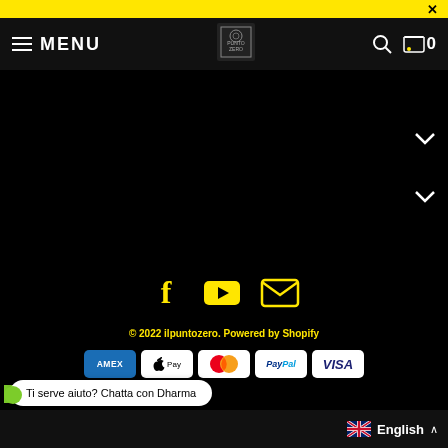× (close button on yellow bar)
MENU | [logo] | [search] | cart 0
[Figure (screenshot): Dark navigation area with two chevron/dropdown arrows on the right side]
[Figure (infographic): Social media icons row: Facebook (f), YouTube (play button), Email (envelope) — all in yellow on black background]
© 2022 ilpuntozero. Powered by Shopify
[Figure (infographic): Payment method icons: AMEX, Apple Pay, Mastercard, PayPal, VISA]
Ti serve aiuto? Chatta con Dharma
English